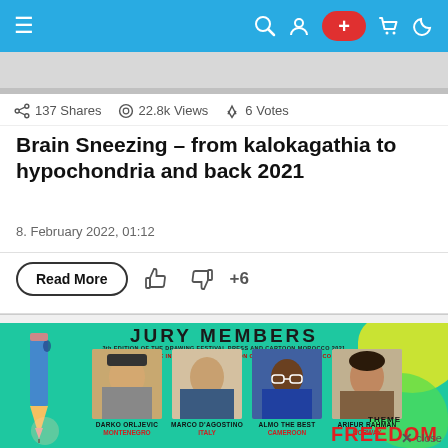Navigation bar with hamburger menu, search, user, + button, cart, and dark mode icons
137 Shares  22.8k Views  6 Votes
Brain Sneezing – from kalokagathia to hypochondria and back 2021
8. February 2022, 01:12
Read More  +6
[Figure (photo): Jury Members event poster for the Drawing Festival Press and Cartoon Morocco 2021, featuring photos of jury members: Darko Orljevic (Montenegro), Marco D'Agostino (Italy), Almo The Best (Cameroon), Arifur Rahman (Norway), with theme FREEDOM text at bottom right, on a teal/green background with cartoon pencil illustration on left.]